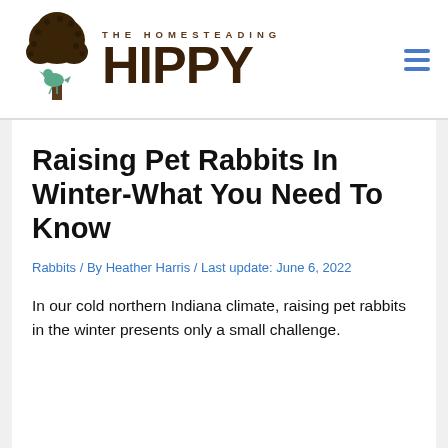THE HOMESTEADING HIPPY
Raising Pet Rabbits In Winter-What You Need To Know
Rabbits / By Heather Harris / Last update: June 6, 2022
In our cold northern Indiana climate, raising pet rabbits in the winter presents only a small challenge.